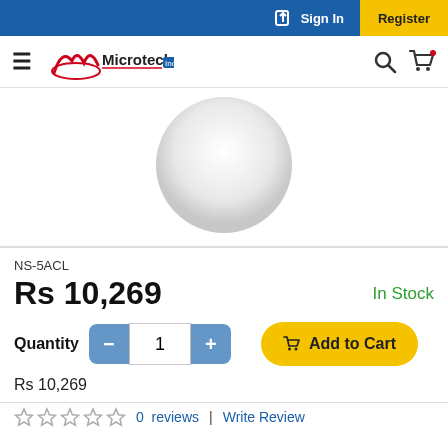Sign In | Register
[Figure (logo): Microtech Inc. logo with hamburger menu, search icon, and cart icon in the header navigation bar]
[Figure (photo): Product image: white dome-shaped wireless access point on white background]
NS-5ACL
Rs 10,269   In Stock
Quantity  -  1  +    Add to Cart
Rs 10,269
0  reviews  |  Write Review